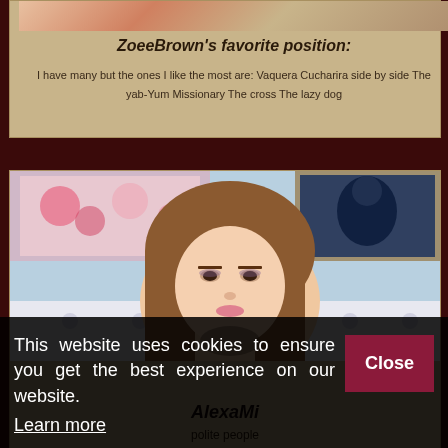[Figure (photo): Partial top of image showing hair and colorful background, cropped at top of page]
ZoeeBrown's favorite position:
I have many but the ones I like the most are: Vaquera Cucharira side by side The yab-Yum Missionary The cross The lazy dog
[Figure (photo): Young woman with long straight brown hair, light makeup, sitting in front of a light blue wall with framed pictures, white tufted headboard visible]
AlexaMi
polite people
This website uses cookies to ensure you get the best experience on our website. Learn more Close